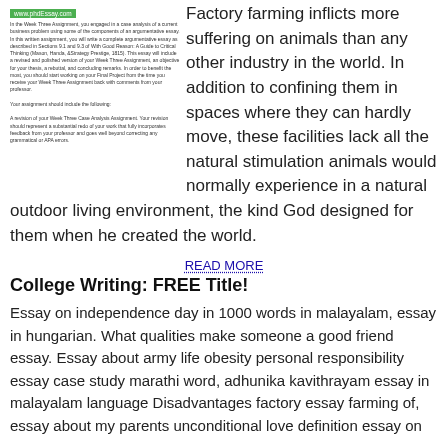[Figure (screenshot): Small document screenshot with green URL badge showing www.phdEssay.com and small paragraph text about a Week Three Assignment and argumentative essay]
Factory farming inflicts more suffering on animals than any other industry in the world. In addition to confining them in spaces where they can hardly move, these facilities lack all the natural stimulation animals would normally experience in a natural outdoor living environment, the kind God designed for them when he created the world.
READ MORE
College Writing: FREE Title!
Essay on independence day in 1000 words in malayalam, essay in hungarian. What qualities make someone a good friend essay. Essay about army life obesity personal responsibility essay case study marathi word, adhunika kavithrayam essay in malayalam language Disadvantages factory essay farming of, essay about my parents unconditional love definition essay on